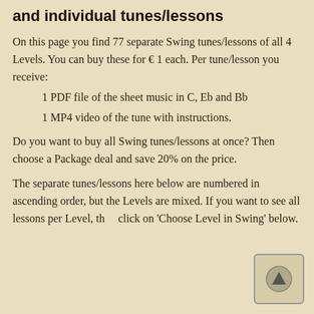and individual tunes/lessons
On this page you find 77 separate Swing tunes/lessons of all 4 Levels. You can buy these for € 1 each. Per tune/lesson you receive:
1 PDF file of the sheet music in C, Eb and Bb
1 MP4 video of the tune with instructions.
Do you want to buy all Swing tunes/lessons at once? Then choose a Package deal and save 20% on the price.
The separate tunes/lessons here below are numbered in ascending order, but the Levels are mixed. If you want to see all lessons per Level, then click on 'Choose Level in Swing' below.